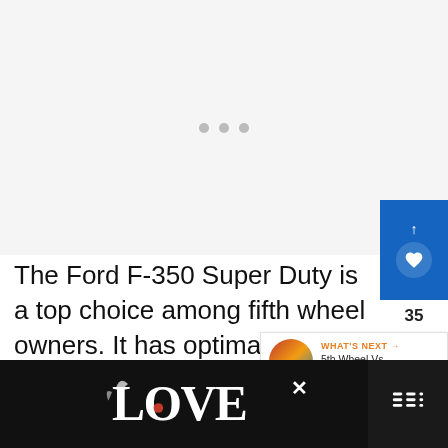[Figure (photo): Image placeholder with loading dots on light gray background]
The Ford F-350 Super Duty is a top choice among fifth wheel owners. It has optimal towing capability with GVWR, payload, gross combined weight ratings that are best in its class. No doubt about it, Ford F-350 Super D...
[Figure (infographic): What's Next panel: 5th Wheel Vs. Travel Traile...]
[Figure (infographic): Advertisement bar at bottom with LOVE logo design and close button]